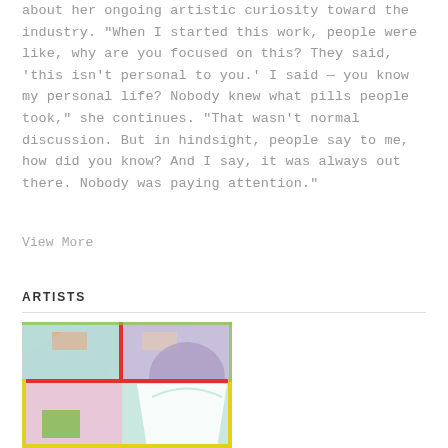about her ongoing artistic curiosity toward the industry. "When I started this work, people were like, why are you focused on this? They said, 'this isn't personal to you.' I said — you know my personal life? Nobody knew what pills people took," she continues. "That wasn't normal discussion. But in hindsight, people say to me, how did you know? And I say, it was always out there. Nobody was paying attention."
View More
ARTISTS
[Figure (illustration): Colorful geometric illustration divided into quadrants with muted tones of teal, lavender, peach, and pink, featuring abstract shapes suggesting a cup or vessel with red and yellow outlines.]